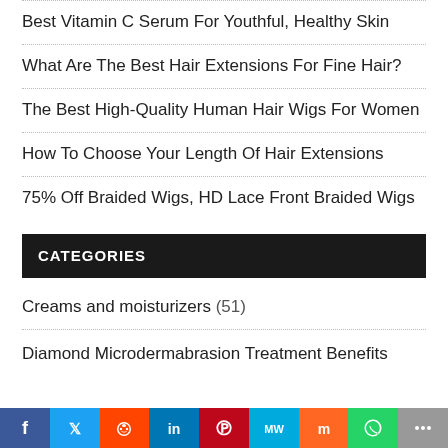Best Vitamin C Serum For Youthful, Healthy Skin
What Are The Best Hair Extensions For Fine Hair?
The Best High-Quality Human Hair Wigs For Women
How To Choose Your Length Of Hair Extensions
75% Off Braided Wigs, HD Lace Front Braided Wigs
CATEGORIES
Creams and moisturizers (51)
Diamond Microdermabrasion Treatment Benefits